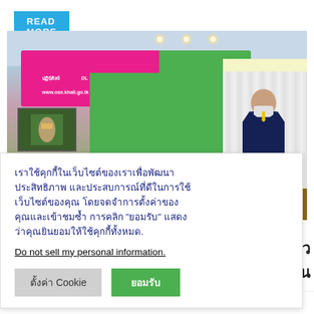READ MORE
[Figure (photo): A meeting or conference room scene showing a person at a podium in front of a green screen backdrop, with a pink banner visible, a TV monitor, and white curtains. The setting appears to be a Thai government event.]
เราใช้คุกกี้ในเว็บไซต์ของเราเพื่อพัฒนาประสิทธิภาพ และประสบการณ์ที่ดีในการใช้เว็บไซต์ของคุณ โดยจดจำการตั้งค่าของคุณและเข้าชมซ้ำ การคลิก "ยอมรับ" แสดงว่าคุณยินยอมให้ใช้คุกกี้ทั้งหมด.
Do not sell my personal information.
ตั้งค่า Cookie
ยอมรับ
บสำรวจแวว
ทรอนิกส์ผ่าน
9 พฤษภาคม, 2022   ประชาสัมพันธ์ สพป.นค.2   การบริหาร